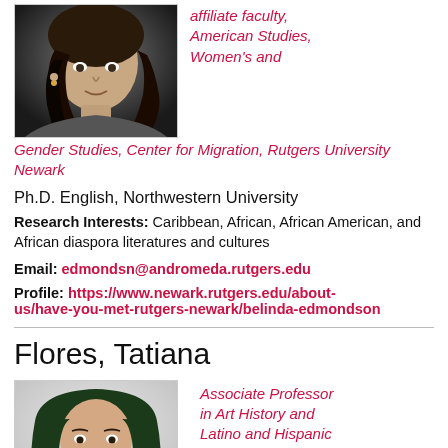[Figure (photo): Portrait photo of a woman with braided hair against a dark background]
affiliate faculty, American Studies, Women's and Gender Studies, Center for Migration, Rutgers University Newark
Ph.D. English, Northwestern University
Research Interests: Caribbean, African, African American, and African diaspora literatures and cultures
Email: edmondsn@andromeda.rutgers.edu
Profile: https://www.newark.rutgers.edu/about-us/have-you-met-rutgers-newark/belinda-edmondson
Flores, Tatiana
[Figure (photo): Portrait photo of a woman with dark green hair against a light background]
Associate Professor in Art History and Latino and Hispanic Caribbean Studies,